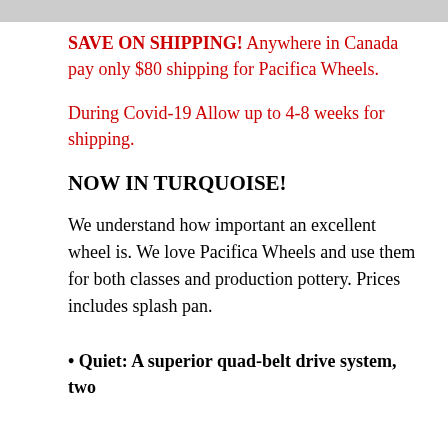SAVE ON SHIPPING! Anywhere in Canada pay only $80 shipping for Pacifica Wheels.
During Covid-19 Allow up to 4-8 weeks for shipping.
NOW IN TURQUOISE!
We understand how important an excellent wheel is. We love Pacifica Wheels and use them for both classes and production pottery. Prices includes splash pan.
• Quiet: A superior quad-belt drive system, two